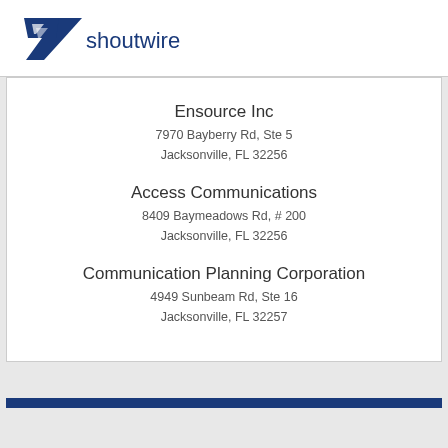[Figure (logo): Shoutwire logo: dark blue stylized bird/wing shape with white stripes, followed by text 'shoutwire' in dark blue]
Ensource Inc
7970 Bayberry Rd, Ste 5
Jacksonville, FL 32256
Access Communications
8409 Baymeadows Rd, # 200
Jacksonville, FL 32256
Communication Planning Corporation
4949 Sunbeam Rd, Ste 16
Jacksonville, FL 32257